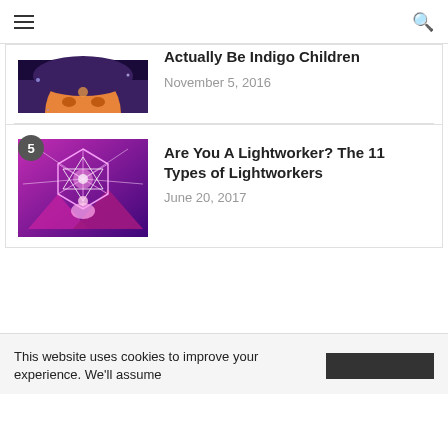≡  🔍
[Figure (illustration): Partial view of a stylized portrait illustration of a woman with orange and blue hues, cropped at top]
Actually Be Indigo Children
November 5, 2016
[Figure (illustration): Illustration of a meditating figure surrounded by glowing sacred geometry shapes and pyramids in purple/pink tones, numbered badge 5]
Are You A Lightworker? The 11 Types of Lightworkers
June 20, 2017
This website uses cookies to improve your experience. We'll assume